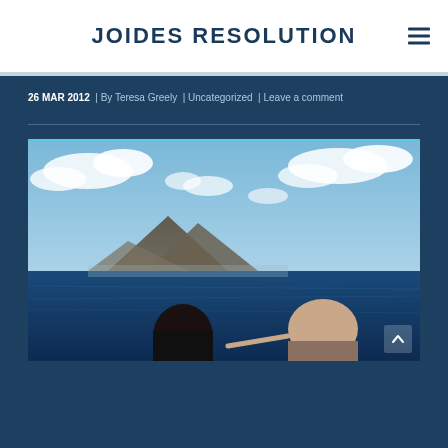JOIDES RESOLUTION
26 MAR 2012 | By Teresa Greely | Uncategorized | Leave a comment
[Figure (photo): Outdoor photo showing two people in the foreground (viewed from behind), looking out at a dark blue sea with a volcanic island in the background and partly cloudy blue sky above.]